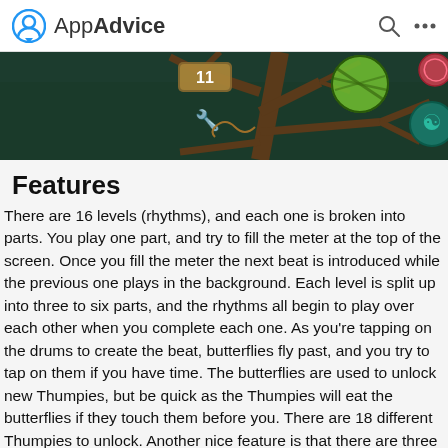AppAdvice
[Figure (screenshot): Top portion of a game screenshot showing a dark fantasy tree scene with glowing orbs (green striped, teal triskelion, pink spiral), brown branches against a dark teal background, with UI elements including a timer showing '11' and a wrench icon.]
Features
There are 16 levels (rhythms), and each one is broken into parts. You play one part, and try to fill the meter at the top of the screen. Once you fill the meter the next beat is introduced while the previous one plays in the background. Each level is split up into three to six parts, and the rhythms all begin to play over each other when you complete each one. As you're tapping on the drums to create the beat, butterflies fly past, and you try to tap on them if you have time. The butterflies are used to unlock new Thumpies, but be quick as the Thumpies will eat the butterflies if they touch them before you. There are 18 different Thumpies to unlock. Another nice feature is that there are three difficulty levels letting you enjoy Thumpies at your own pace.
[Figure (screenshot): Bottom portion of a game screenshot showing a blue sky scene with cartoon characters, a pause button (II), decorative text, a green progress bar, and a round green creature character on the right.]